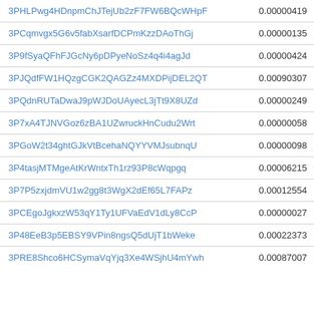| Address | Value |
| --- | --- |
| 3PHLPwg4HDnpmChJTejUb2zF7FW6BQcWHpF | 0.00000419 |
| 3PCqmvgx5G6v5fabXsarfDCPmKzzDAoThGj | 0.00000135 |
| 3P9fSyaQFhFJGcNy6pDPyeNoSz4q4i4agJd | 0.00000424 |
| 3PJQdfFW1HQzgCGK2QAGZz4MXDPijDEL2QT | 0.00090307 |
| 3PQdnRUTaDwaJ9pWJDoUAyecL3jTt9X8UZd | 0.00000249 |
| 3P7xA4TJNVGoz6zBA1UZwruckHnCudu2Wrt | 0.00000058 |
| 3PGoW2t34ghtGJkVtBcehaNQYYVMJsubnqU | 0.00000098 |
| 3P4tasjMTMgeAtKrWntxTh1rz93P8cWqpgq | 0.00006215 |
| 3P7P5zxjdmVU1w2gg8t3WgX2dEf65L7FAPz | 0.00012554 |
| 3PCEgoJgkxzW53qY1Ty1UFVaEdV1dLy8CcP | 0.00000027 |
| 3P48EeB3p5EBSY9VPin8ngsQ5dUjT1bWeke | 0.00022373 |
| 3PRE8Shco6HCSymaVqYjq3Xe4WSjhU4mYwh | 0.00087007 |